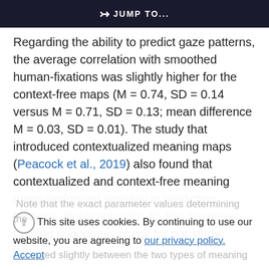⇒ JUMP TO...
Regarding the ability to predict gaze patterns, the average correlation with smoothed human-fixations was slightly higher for the context-free maps (M = 0.74, SD = 0.14 versus M = 0.71, SD = 0.13; mean difference M = 0.03, SD = 0.01). The study that introduced contextualized meaning maps (Peacock et al., 2019) also found that contextualized and context-free meaning maps performed similarly in predicting fixations. Replicating this finding provides another soundness check for our study.
This site uses cookies. By continuing to use our website, you are agreeing to our privacy policy. Accept